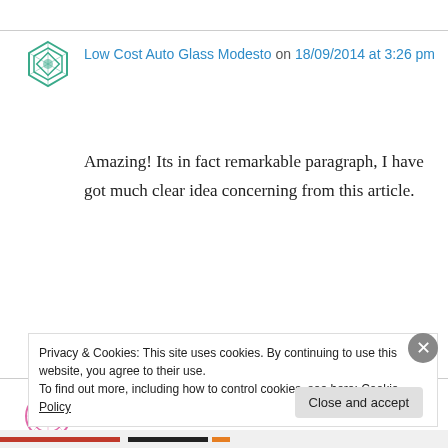Low Cost Auto Glass Modesto on 18/09/2014 at 3:26 pm
Amazing! Its in fact remarkable paragraph, I have got much clear idea concerning from this article.
↳ Reply
Bonny on 19/09/2014 at 12:28 pm
Privacy & Cookies: This site uses cookies. By continuing to use this website, you agree to their use.
To find out more, including how to control cookies, see here: Cookie Policy